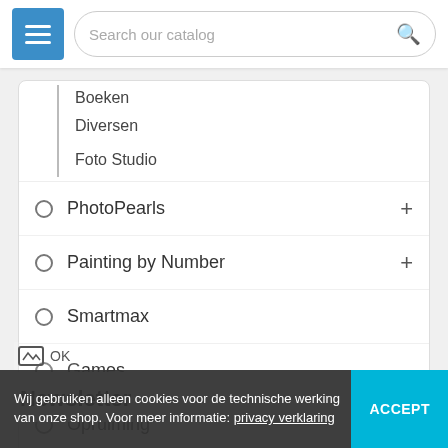Search our catalog
Boeken (clipped/partial)
Diversen
Foto Studio
PhotoPearls
Painting by Number
Smartmax
Games
Opruiming
Newsletter
Wij gebruiken alleen cookies voor de technische werking van onze shop. Voor meer informatie: privacy verklaring